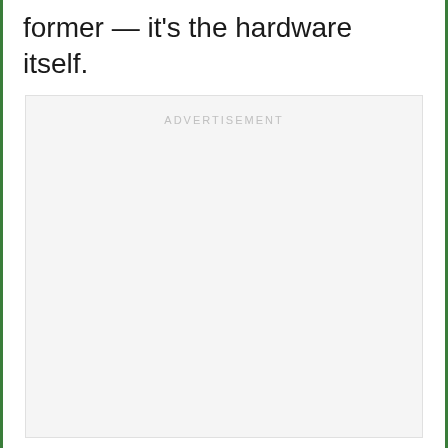former — it's the hardware itself.
[Figure (other): Advertisement placeholder box with 'ADVERTISEMENT' label centered at the top in light gray spaced letters, large empty light gray rectangle]